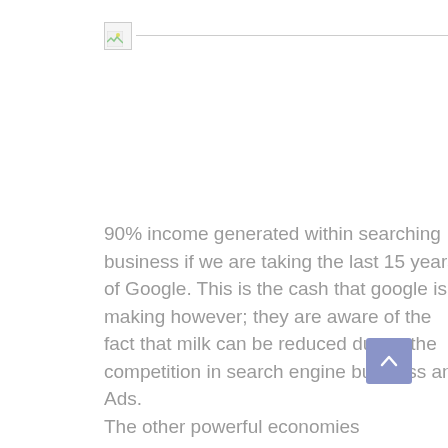[Figure (other): Broken/missing image placeholder with a small landscape icon in the top-left corner, with a horizontal line extending to the right]
90% income generated within searching business if we are taking the last 15 years of Google. This is the cash that google is making however; they are aware of the fact that milk can be reduced due to the competition in search engine business and Ads.
The other powerful economies